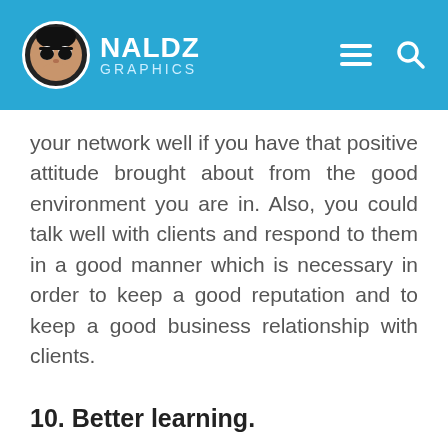NALDZ GRAPHICS
your network well if you have that positive attitude brought about from the good environment you are in. Also, you could talk well with clients and respond to them in a good manner which is necessary in order to keep a good reputation and to keep a good business relationship with clients.
10. Better learning.
[Figure (photo): A blonde woman seated in front of a bookshelf with orange/red books, in a bright room with blue and white tones.]